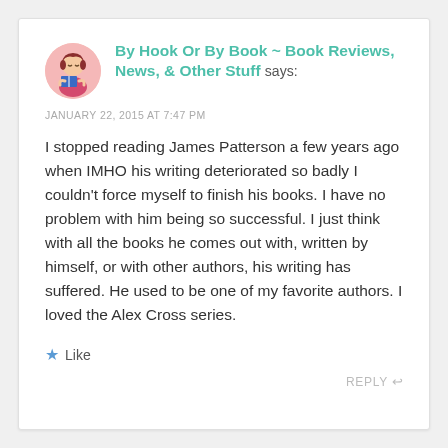[Figure (illustration): Circular avatar showing a cartoon illustration of a girl reading a book, with pink background]
By Hook Or By Book ~ Book Reviews, News, & Other Stuff says:
JANUARY 22, 2015 AT 7:47 PM
I stopped reading James Patterson a few years ago when IMHO his writing deteriorated so badly I couldn't force myself to finish his books. I have no problem with him being so successful. I just think with all the books he comes out with, written by himself, or with other authors, his writing has suffered. He used to be one of my favorite authors. I loved the Alex Cross series.
Like
REPLY